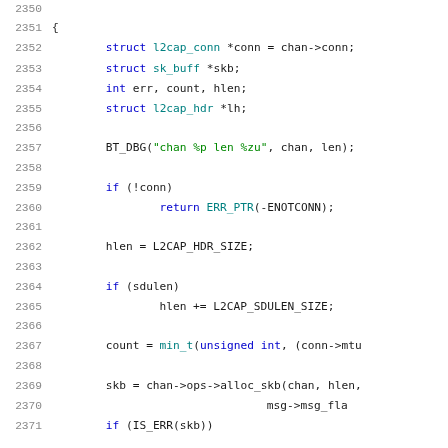Source code listing, lines 2350-2371, C programming language showing l2cap socket send function implementation